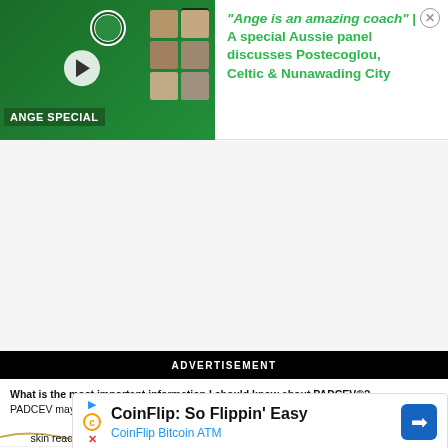[Figure (screenshot): Video thumbnail for Ange Special — green background with coach photo and face grid]
"Ange is an amazing coach" | A special Aussie panel discusses Postecoglou, Celtic & Nunawading City
ADVERTISEMENT
What is the most important information I should know about PADCEV®?
PADCEV may cause serious side effects, including:
…skin reactions have be…
[Figure (screenshot): CoinFlip Bitcoin ATM advertisement — CoinFlip: So Flippin' Easy]